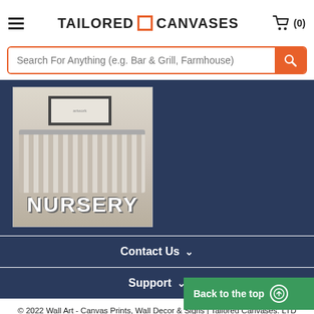TAILORED CANVASES (0)
Search For Anything (e.g. Bar & Grill, Farmhouse)
[Figure (photo): Photo of a nursery room with a crib and wall art, labeled NURSERY in bold white text at the bottom]
Contact Us
Support
© 2022 Wall Art - Canvas Prints, Wall Decor & Signs | Tailored Canvases. LTD
Supported Payments
Back to the top